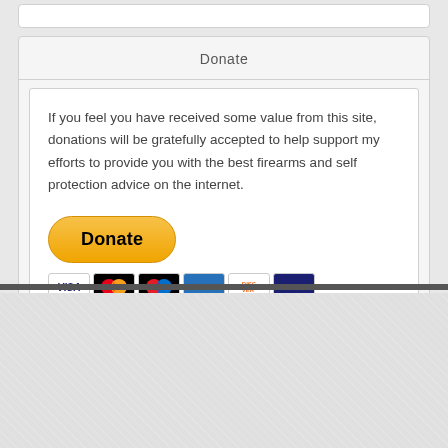Donate
If you feel you have received some value from this site, donations will be gratefully accepted to help support my efforts to provide you with the best firearms and self protection advice on the internet.
[Figure (other): PayPal Donate button with payment card icons (Visa, Mastercard, Discover, Amex, and others)]